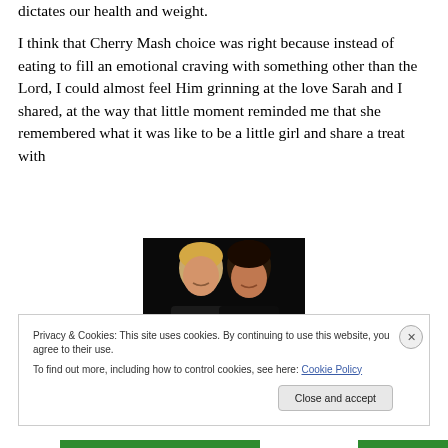dictates our health and weight.
I think that Cherry Mash choice was right because instead of eating to fill an emotional craving with something other than the Lord, I could almost feel Him grinning at the love Sarah and I shared, at the way that little moment reminded me that she remembered what it was like to be a little girl and share a treat with
[Figure (photo): Two women smiling together, posed close, photographed against a dark background. One has blonde hair, the other has dark hair.]
Privacy & Cookies: This site uses cookies. By continuing to use this website, you agree to their use.
To find out more, including how to control cookies, see here: Cookie Policy